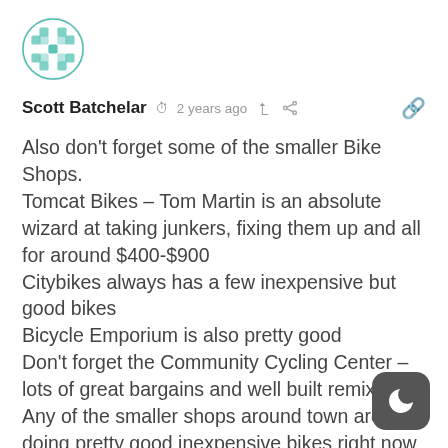[Figure (illustration): Circular avatar with teal/turquoise geometric pattern on white background]
Scott Batchelar  🕐 2 years ago  🔗
Also don't forget some of the smaller Bike Shops.
Tomcat Bikes – Tom Martin is an absolute wizard at taking junkers, fixing them up and all for around $400-$900
Citybikes always has a few inexpensive but good bikes
Bicycle Emporium is also pretty good
Don't forget the Community Cycling Center – lots of great bargains and well built remixes
Any of the smaller shops around town are doing pretty good inexpensive bikes right now – Tom Martin pretty much told me he's the busiest he's ever been